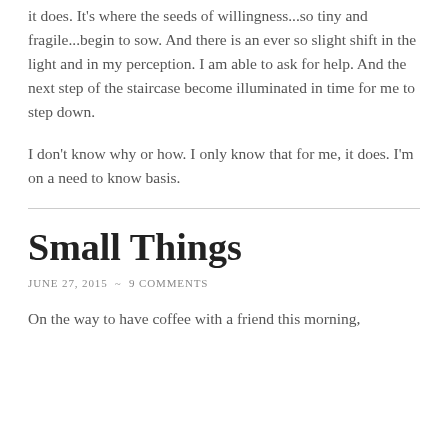it does. It's where the seeds of willingness...so tiny and fragile...begin to sow. And there is an ever so slight shift in the light and in my perception. I am able to ask for help. And the next step of the staircase become illuminated in time for me to step down.
I don't know why or how. I only know that for me, it does. I'm on a need to know basis.
Small Things
JUNE 27, 2015 ~ 9 COMMENTS
On the way to have coffee with a friend this morning,